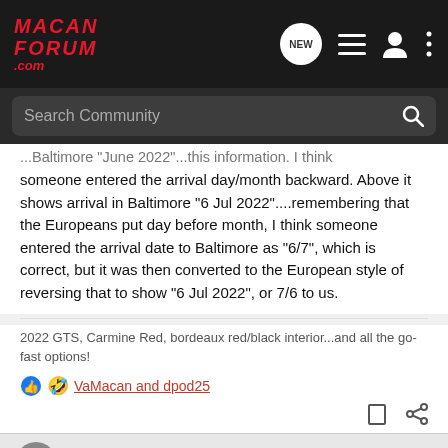MacanForum.com
someone entered the arrival day/month backward. Above it shows arrival in Baltimore "6 Jul 2022"....remembering that the Europeans put day before month, I think someone entered the arrival date to Baltimore as "6/7", which is correct, but it was then converted to the European style of reversing that to show "6 Jul 2022", or 7/6 to us.
2022 GTS, Carmine Red, bordeaux red/black interior...and all the go-fast options!
VaMacan and dpod25
dpod25 · Registered